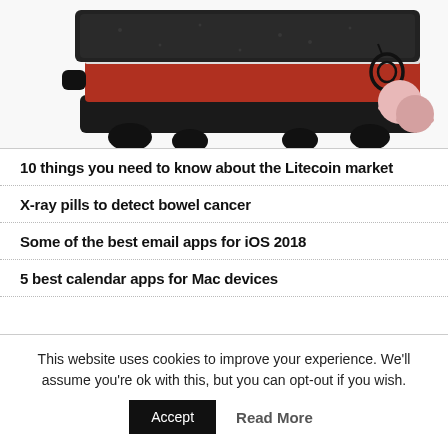[Figure (photo): Close-up photo of a heat press machine with layered red and black components, and two small round pink pads with a cord accessory on the right side.]
10 things you need to know about the Litecoin market
X-ray pills to detect bowel cancer
Some of the best email apps for iOS 2018
5 best calendar apps for Mac devices
This website uses cookies to improve your experience. We'll assume you're ok with this, but you can opt-out if you wish.
Accept   Read More